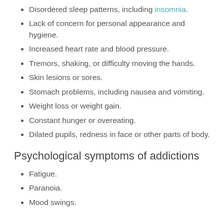Disordered sleep patterns, including insomnia.
Lack of concern for personal appearance and hygiene.
Increased heart rate and blood pressure.
Tremors, shaking, or difficulty moving the hands.
Skin lesions or sores.
Stomach problems, including nausea and vomiting.
Weight loss or weight gain.
Constant hunger or overeating.
Dilated pupils, redness in face or other parts of body.
Psychological symptoms of addictions
Fatigue.
Paranoia.
Mood swings.